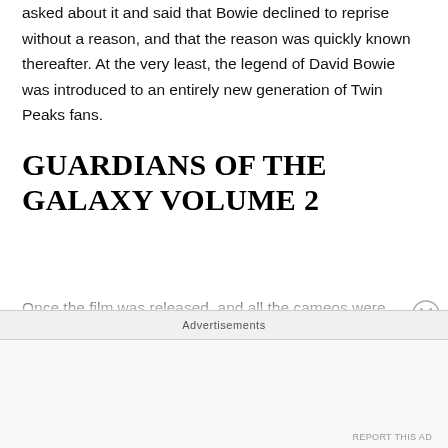asked about it and said that Bowie declined to reprise without a reason, and that the reason was quickly known thereafter. At the very least, the legend of David Bowie was introduced to an entirely new generation of Twin Peaks fans.
GUARDIANS OF THE GALAXY VOLUME 2
Once the film was released, and all the cameos were exposed, James Gunn quickly came out in a Facebook Q&A with fans and said that he originally sought David Bowie for one of the original Guardians members who show up at the end of the film. Had Bowie been alive
Advertisements